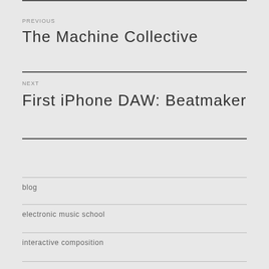PREVIOUS
The Machine Collective
NEXT
First iPhone DAW: Beatmaker
blog
electronic music school
interactive composition